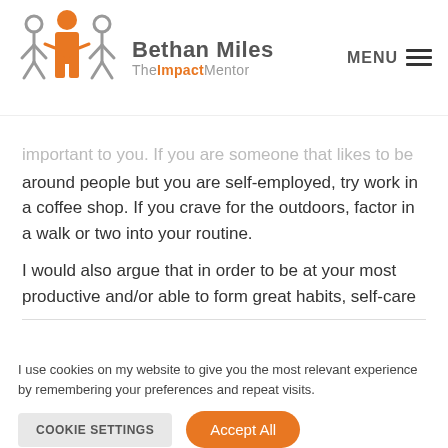[Figure (logo): Bethan Miles TheImpactMentor logo with three human figures (center orange, sides grey) and brand name]
important to you. If you are someone that likes to be around people but you are self-employed, try work in a coffee shop. If you crave for the outdoors, factor in a walk or two into your routine.
I would also argue that in order to be at your most productive and/or able to form great habits, self-care
I use cookies on my website to give you the most relevant experience by remembering your preferences and repeat visits.